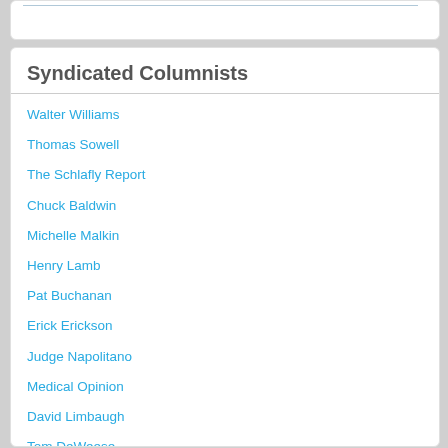Syndicated Columnists
Walter Williams
Thomas Sowell
The Schlafly Report
Chuck Baldwin
Michelle Malkin
Henry Lamb
Pat Buchanan
Erick Erickson
Judge Napolitano
Medical Opinion
David Limbaugh
Tom DeWeese
Tucker Carlson & Neil Patel
Stephen Moore